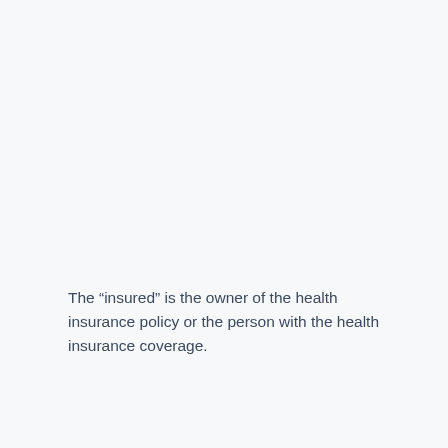The “insured” is the owner of the health insurance policy or the person with the health insurance coverage.